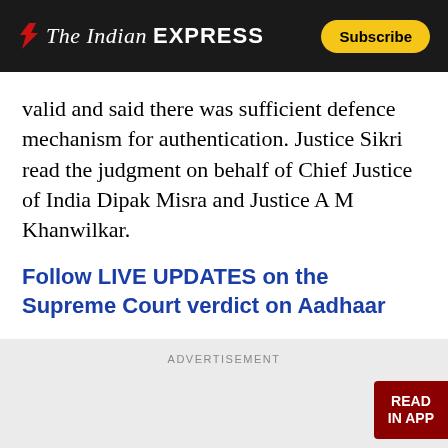The Indian Express — Subscribe
valid and said there was sufficient defence mechanism for authentication. Justice Sikri read the judgment on behalf of Chief Justice of India Dipak Misra and Justice A M Khanwilkar.
Follow LIVE UPDATES on the Supreme Court verdict on Aadhaar
[Figure (other): Advertisement placeholder area with READ IN APP button]